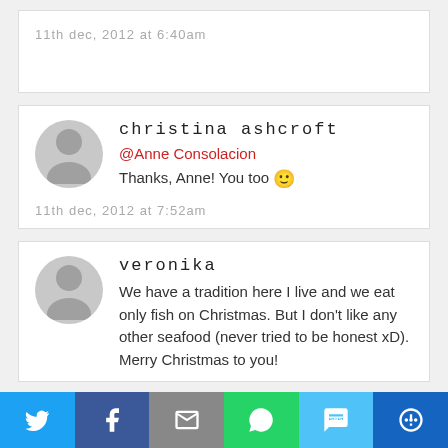11th dec, 2012 at 6:40am
christina ashcroft
@Anne Consolacion
Thanks, Anne! You too 🙂
11th dec, 2012 at 7:52am
veronika
We have a tradition here I live and we eat only fish on Christmas. But I don't like any other seafood (never tried to be honest xD).
Merry Christmas to you!
[Figure (infographic): Social share bar with Twitter, Facebook, Email, WhatsApp, SMS, and More buttons]